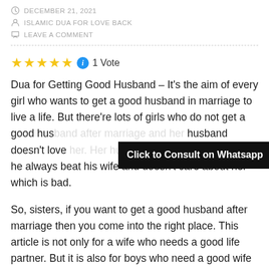DECEMBER 21, 2021
ISLAMIC DUA FOR LOVE BACK
LEAVE A COMMENT
[Figure (other): 5 gold stars rating widget with blue info icon and '1 Vote' text]
Dua for Getting Good Husband – It's the aim of every girl who wants to get a good husband in marriage to live a life. But there're lots of girls who do not get a good husband after marriage and her husband doesn't love her. Her husband doesn't like her and he always beat his wife and doesn't care about her which is bad.
[Figure (other): Black overlay button: Click to Consult on Whatsapp]
So, sisters, if you want to get a good husband after marriage then you come into the right place. This article is not only for a wife who needs a good life partner. But it is also for boys who need a good wife in their life and this article will help you to Shaa Allah.